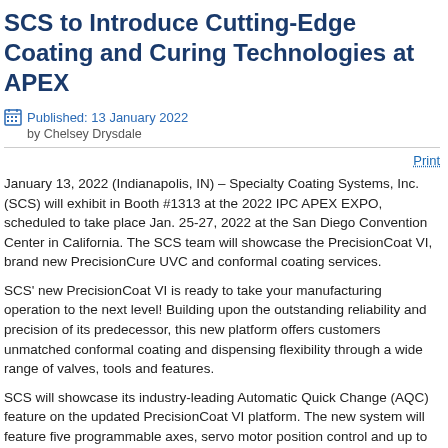SCS to Introduce Cutting-Edge Coating and Curing Technologies at APEX
Published: 13 January 2022
by Chelsey Drysdale
Print
January 13, 2022 (Indianapolis, IN) – Specialty Coating Systems, Inc. (SCS) will exhibit in Booth #1313 at the 2022 IPC APEX EXPO, scheduled to take place Jan. 25-27, 2022 at the San Diego Convention Center in California. The SCS team will showcase the PrecisionCoat VI, brand new PrecisionCure UVC and conformal coating services.
SCS' new PrecisionCoat VI is ready to take your manufacturing operation to the next level! Building upon the outstanding reliability and precision of its predecessor, this new platform offers customers unmatched conformal coating and dispensing flexibility through a wide range of valves, tools and features.
SCS will showcase its industry-leading Automatic Quick Change (AQC) feature on the updated PrecisionCoat VI platform. The new system will feature five programmable axes, servo motor position control and up to eight tools on a single machine to achieve exceptional accuracy, repeatability and high throughput for a wide range of automated material applications.
The new PrecisionCure UVC utilizes Heraeus Noblelight® microwave-activated UV